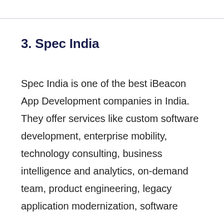3. Spec India
Spec India is one of the best iBeacon App Development companies in India. They offer services like custom software development, enterprise mobility, technology consulting, business intelligence and analytics, on-demand team, product engineering, legacy application modernization, software